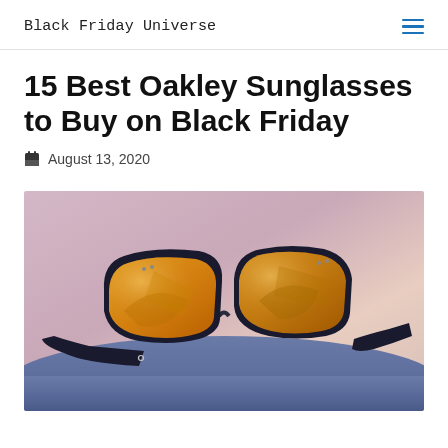Black Friday Universe
15 Best Oakley Sunglasses to Buy on Black Friday
August 13, 2020
[Figure (photo): Oakley sunglasses with orange/yellow lenses and black frames resting on a surface, with a blurred soft pink/purple background]